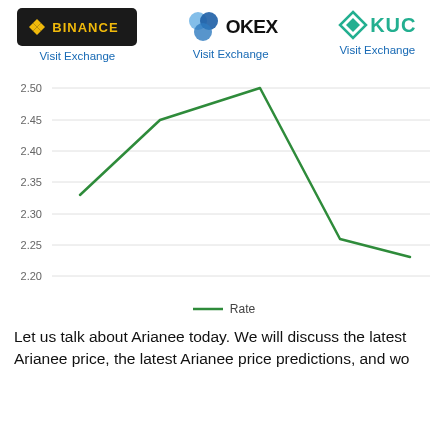[Figure (logo): Binance exchange logo (black background, gold diamond icon, gold text BINANCE) with 'Visit Exchange' link below]
[Figure (logo): OKEx exchange logo (blue circles icon, black text OKEX) with 'Visit Exchange' link below]
[Figure (logo): KuCoin exchange logo (teal KC diamond icon, teal text KUCO...) with 'Visit Exchange' link below]
[Figure (line-chart): ]
Let us talk about Arianee today. We will discuss the latest Arianee price, the latest Arianee price predictions, and wo